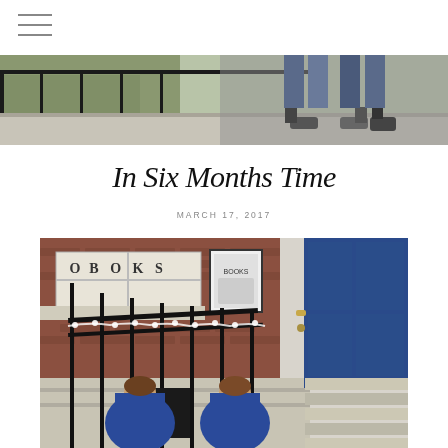☰ (hamburger menu icon)
[Figure (photo): Top portion of a photo showing an outdoor staircase with black railings, green cobblestone ground visible to the left, and two pairs of feet/shoes at the top of the stairs.]
In Six Months Time
MARCH 17, 2017
[Figure (photo): Photo of two young children sitting on steps outside a building. Behind them is a brick wall with a shop window showing the word BOOKS in white letters, a framed sign to the right, and a blue door on the far right. The children are wearing matching dark blue patterned jackets and are smiling.]